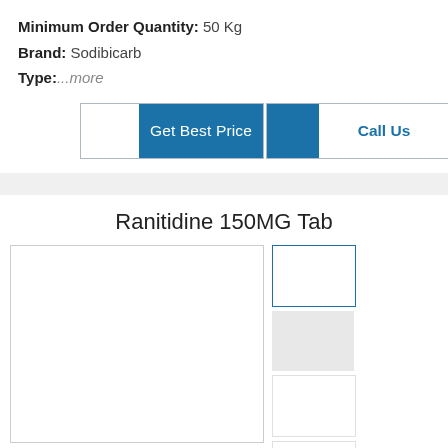Minimum Order Quantity: 50 Kg
Brand: Sodibicarb
Type:...more
Get Best Price
Call Us
Ranitidine 150MG Tab
[Figure (photo): Product image area for Ranitidine 150MG Tab with main image placeholder and thumbnail images on the right]